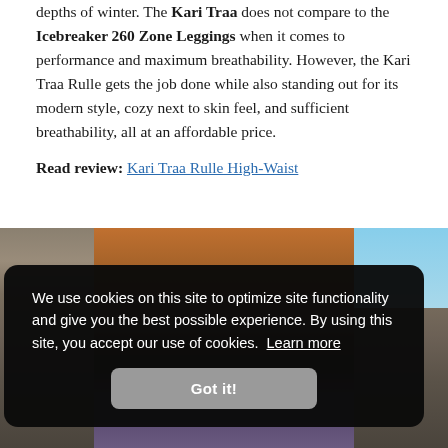depths of winter. The Kari Traa does not compare to the Icebreaker 260 Zone Leggings when it comes to performance and maximum breathability. However, the Kari Traa Rulle gets the job done while also standing out for its modern style, cozy next to skin feel, and sufficient breathability, all at an affordable price.
Read review: Kari Traa Rulle High-Waist
[Figure (photo): A person outdoors in a rocky desert environment, wearing leggings and holding what appears to be a thermos or bottle. The background shows rocky terrain and blue sky.]
We use cookies on this site to optimize site functionality and give you the best possible experience. By using this site, you accept our use of cookies. Learn more
Got it!